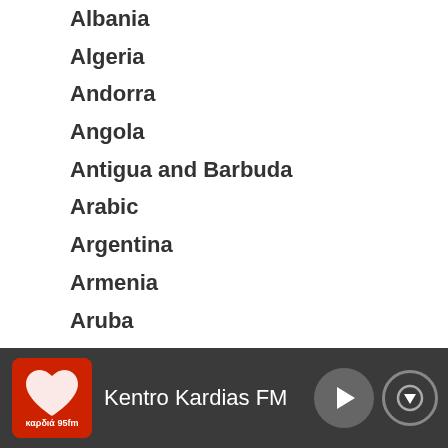Albania
Algeria
Andorra
Angola
Antigua and Barbuda
Arabic
Argentina
Armenia
Aruba
Australia
Austria
Azerbaijan
Bahamas
Bangladesh
Barbados
Kentro Kardias FM